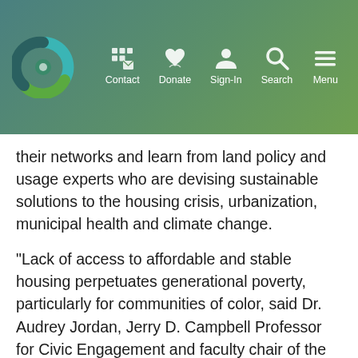Contact  Donate  Sign-In  Search  Menu
their networks and learn from land policy and usage experts who are devising sustainable solutions to the housing crisis, urbanization, municipal health and climate change.
“Lack of access to affordable and stable housing perpetuates generational poverty, particularly for communities of color, said Dr. Audrey Jordan, Jerry D. Campbell Professor for Civic Engagement and faculty chair of the MPA program at CLU. “The solutions to pressing global issues such as these can begin with us all, in our own communities. This program will empower students to advance equitable policies, create place and answer